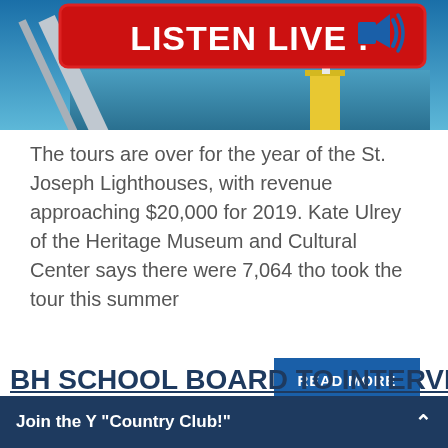[Figure (screenshot): Listen Live banner with red background, white bold text 'LISTEN LIVE !' and a blue speaker icon with sound waves. Below is a photo of water with a lighthouse on a yellow pier and a structural beam in the foreground.]
The tours are over for the year of the St. Joseph Lighthouses, with revenue approaching $20,000 for 2019. Kate Ulrey of the Heritage Museum and Cultural Center says there were 7,064 tho took the tour this summer
READ MORE
BH SCHOOL BOARD TO INTERVIEW
Join the Y "Country Club!"